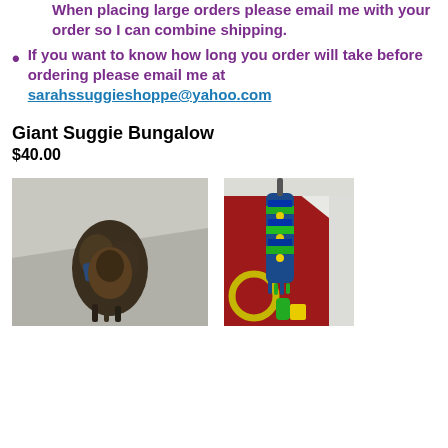When placing large orders please email me with your order so I can combine shipping.
If you want to know how long you order will take before ordering please email me at sarahssuggieshoppe@yahoo.com
Giant Suggie Bungalow
$40.00
[Figure (photo): Photo of a suggie bungalow hanging from ceiling, brownish-gold tones]
[Figure (photo): Photo of a colorful suggie bungalow hanging in a room with red wall]